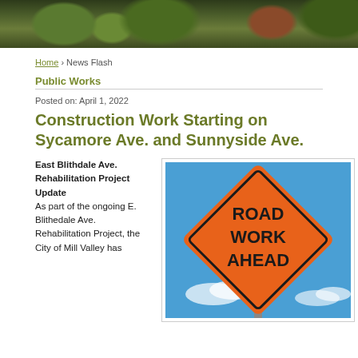[Figure (photo): Header banner photo showing trees and foliage in dark green and autumn colors]
Home › News Flash
Public Works
Posted on: April 1, 2022
Construction Work Starting on Sycamore Ave. and Sunnyside Ave.
East Blithdale Ave. Rehabilitation Project Update As part of the ongoing E. Blithedale Ave. Rehabilitation Project, the City of Mill Valley has
[Figure (photo): Orange diamond-shaped road sign reading ROAD WORK AHEAD against a blue sky]